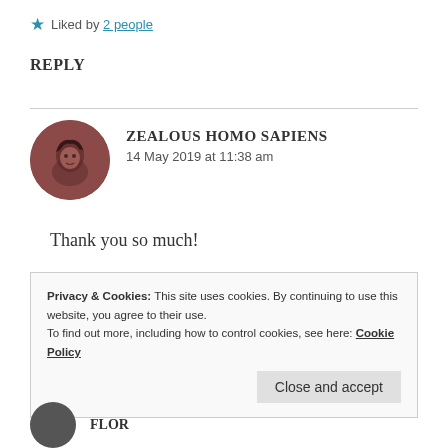★ Liked by 2 people
REPLY
ZEALOUS HOMO SAPIENS
14 May 2019 at 11:38 am
Thank you so much!
Privacy & Cookies: This site uses cookies. By continuing to use this website, you agree to their use.
To find out more, including how to control cookies, see here: Cookie Policy
Close and accept
FLOR